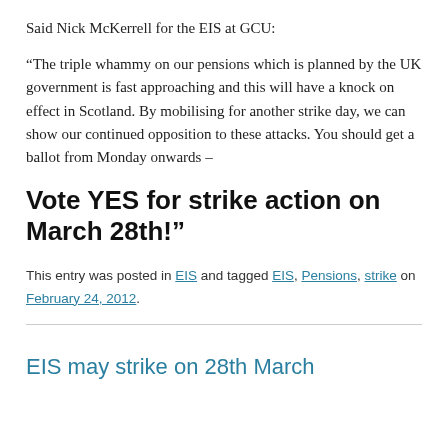Said Nick McKerrell for the EIS at GCU:
“The triple whammy on our pensions which is planned by the UK government is fast approaching and this will have a knock on effect in Scotland. By mobilising for another strike day, we can show our continued opposition to these attacks. You should get a ballot from Monday onwards –
Vote YES for strike action on March 28th!”
This entry was posted in EIS and tagged EIS, Pensions, strike on February 24, 2012.
EIS may strike on 28th March